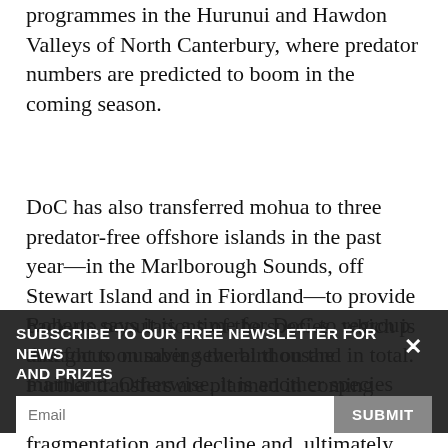programmes in the Hurunui and Hawdon Valleys of North Canterbury, where predator numbers are predicted to boom in the coming season.
DoC has also transferred mohua to three predator-free offshore islands in the past year—in the Marlborough Sounds, off Stewart Island and in Fiordland—to provide back-up populations of the species, which is thought to number several thousand in total. Further transfers are planned in coming years.
Roberts says it is a time for DoC to regroup and focus on saving the bird on the mainland. Otherwise, it is another species that will follow the familiar narrative of fragmentation and decline and, ultimately, island exile.